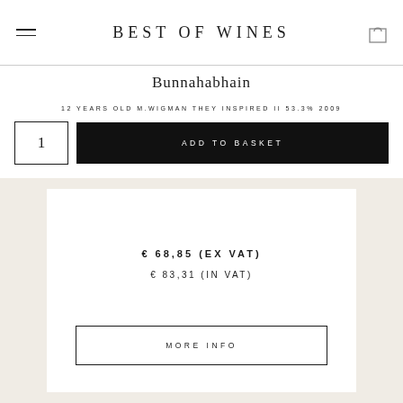BEST OF WINES
Bunnahabhain
12 YEARS OLD M.WIGMAN THEY INSPIRED II 53.3% 2009
1  ADD TO BASKET
€ 68,85 (EX VAT)
€ 83,31 (IN VAT)
MORE INFO